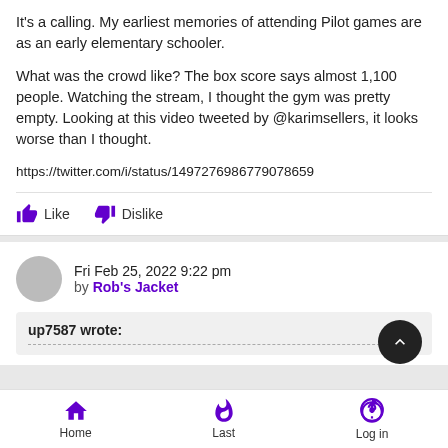It's a calling.  My earliest memories of attending Pilot games are as an early elementary schooler.
What was the crowd like?  The box score says almost 1,100 people.  Watching the stream, I thought the gym was pretty empty.  Looking at this video tweeted by @karimsellers, it looks worse than I thought.
https://twitter.com/i/status/1497276986779078659
Like   Dislike
Fri Feb 25, 2022 9:22 pm
by Rob's Jacket
up7587 wrote:
Home  Last  Log in